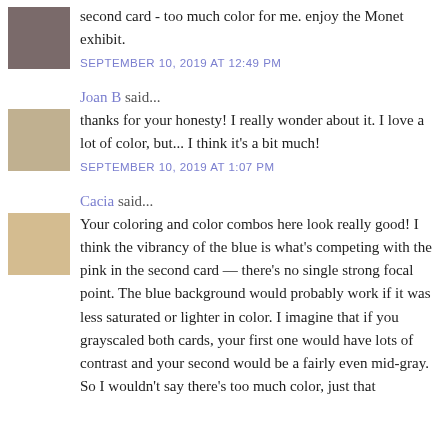second card - too much color for me. enjoy the Monet exhibit.
SEPTEMBER 10, 2019 AT 12:49 PM
Joan B said...
thanks for your honesty! I really wonder about it. I love a lot of color, but... I think it's a bit much!
SEPTEMBER 10, 2019 AT 1:07 PM
Cacia said...
Your coloring and color combos here look really good! I think the vibrancy of the blue is what's competing with the pink in the second card — there's no single strong focal point. The blue background would probably work if it was less saturated or lighter in color. I imagine that if you grayscaled both cards, your first one would have lots of contrast and your second would be a fairly even mid-gray. So I wouldn't say there's too much color, just that